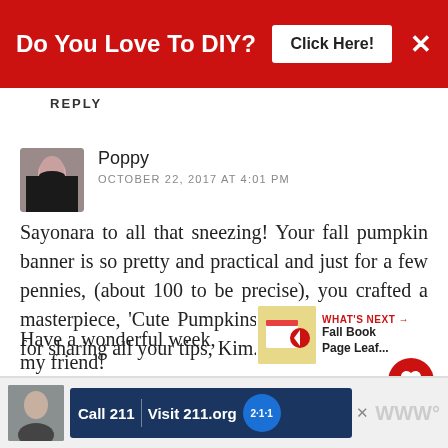[Figure (screenshot): Red banner ad: 'Do You Love To DIY? Click Here!' with close X button]
REPLY
Poppy
OCTOBER 22, 2017 AT 4:01 PM
Sayonara to all that sneezing! Your fall pumpkin banner is so pretty and practical and just for a few pennies, (about 100 to be precise), you crafted a masterpiece, 'Cute Pumpkins on Canvas'! Thanks for sharing all your tips, Kim.

Have a wonderful week, my friend!
[Figure (screenshot): Bottom advertisement: Call 211 / Visit 211.org with 2-1-1 badge logo]